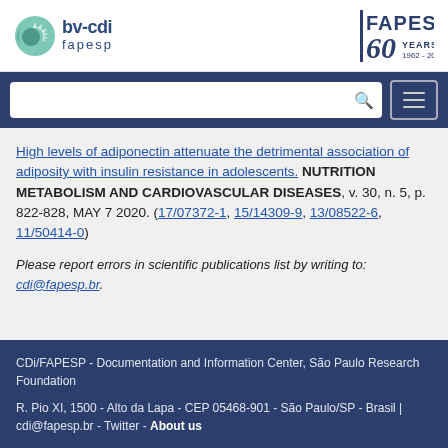[Figure (logo): bv-cdi fapesp logo on the left and FAPESP 60 YEARS 1962-2022 logo on the right]
High levels of adiponectin attenuate the detrimental association of adiposity with insulin resistance in adolescents. NUTRITION METABOLISM AND CARDIOVASCULAR DISEASES, v. 30, n. 5, p. 822-828, MAY 7 2020. (17/07372-1, 15/14309-9, 13/08522-6, 11/50414-0)
Please report errors in scientific publications list by writing to: cdi@fapesp.br.
CDi/FAPESP - Documentation and Information Center, São Paulo Research Foundation
R. Pio XI, 1500 - Alto da Lapa - CEP 05468-901 - São Paulo/SP - Brasil | cdi@fapesp.br - Twitter - About us